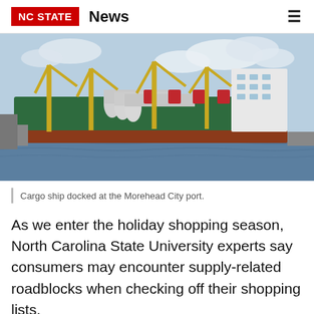NC STATE  News
[Figure (photo): Cargo ship docked at the Morehead City port. A large green cargo vessel with yellow cranes and cylindrical cargo with red rings, docked at a port with blue water and cloudy sky.]
Cargo ship docked at the Morehead City port.
As we enter the holiday shopping season, North Carolina State University experts say consumers may encounter supply-related roadblocks when checking off their shopping lists.